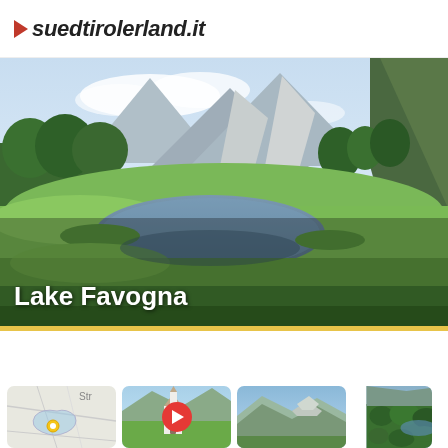suedtirolerland.it
[Figure (photo): Panoramic landscape photo of Lake Favogna in South Tyrol, Italy. A calm alpine lake reflects the surrounding green meadows and trees. Rocky mountain peaks rise in the background under a partly cloudy blue sky. Dense forest lines the right side.]
Lake Favogna
[Figure (map): Small topographic/street map thumbnail showing a location marker near a lake or path outline near a label 'Str']
[Figure (photo): Thumbnail photo of a white Alpine church with bell tower surrounded by green meadow and mountains in background, with a red play button overlay indicating a video]
[Figure (photo): Thumbnail photo of mountain ridgeline against blue sky]
[Figure (photo): Thumbnail photo of forested mountain landscape with a glimpse of a lake]